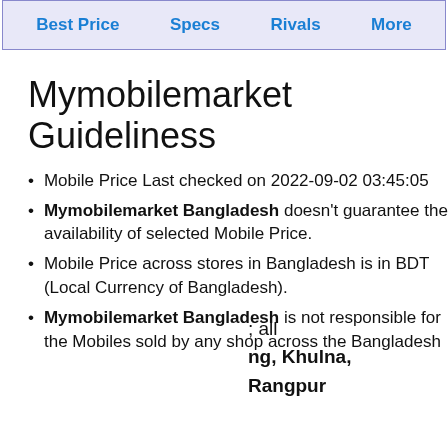Best Price   Specs   Rivals   More
Mymobilemarket Guideliness
Mobile Price Last checked on 2022-09-02 03:45:05
Mymobilemarket Bangladesh doesn't guarantee the availability of selected Mobile Price.
Mobile Price across stores in Bangladesh is in BDT (Local Currency of Bangladesh).
Mymobilemarket Bangladesh is not responsible for the Mobiles sold by any shop across the Bangladesh
; all
ng, Khulna,
Rangpur